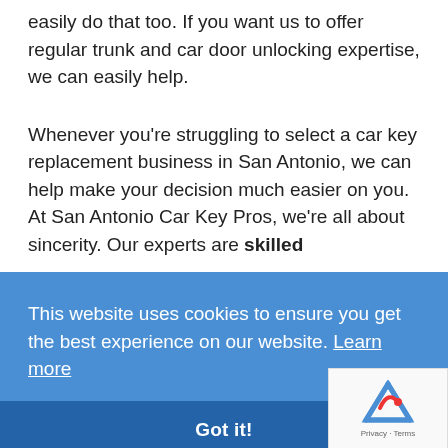easily do that too. If you want us to offer regular trunk and car door unlocking expertise, we can easily help.

Whenever you're struggling to select a car key replacement business in San Antonio, we can help make your decision much easier on you. At San Antonio Car Key Pros, we're all about sincerity. Our experts are skilled
This website uses cookies to ensure you get the best experience on our website. Learn more
Got it!
are locked out of your Acura Legend late at